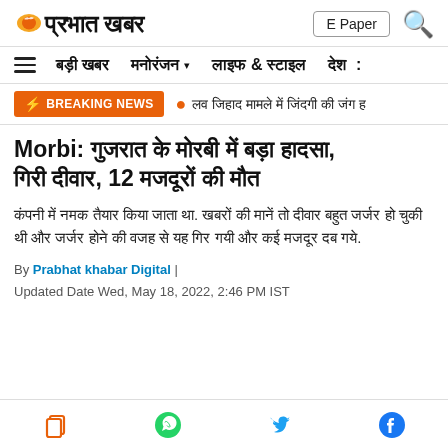प्रभात खबर | E Paper
बड़ी खबर | मनोरंजन | लाइफ & स्टाइल | देश
BREAKING NEWS • लव जिहाद मामले में जिंदगी की जंग ह
Morbi: गुजरात के मोरबी में बड़ा हादसा, गिरी दीवार, 12 मजदूरों की मौत
कंपनी में नमक तैयार किया जाता था. खबरों की मानें तो दीवार बहुत जर्जर हो चुकी थी और जर्जर होने की वजह से यह गिर गयी और कई मजदूर दब गये.
By Prabhat khabar Digital | Updated Date Wed, May 18, 2022, 2:46 PM IST
Share icons: copy, whatsapp, twitter, facebook